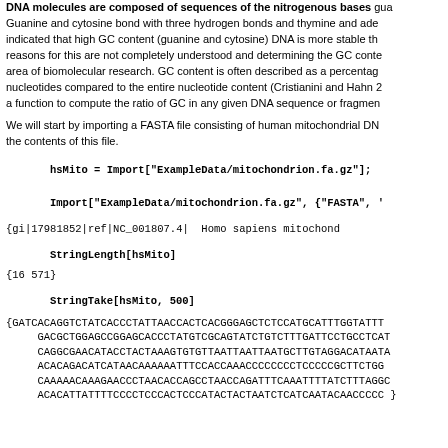DNA molecules are composed of sequences of the nitrogenous bases guanine and cytosine bond with three hydrogen bonds and thymine and adenine indicated that high GC content (guanine and cytosine) DNA is more stable than reasons for this are not completely understood and determining the GC content area of biomolecular research. GC content is often described as a percentage nucleotides compared to the entire nucleotide content (Cristianini and Hahn 2 a function to compute the ratio of GC in any given DNA sequence or fragment.
We will start by importing a FASTA file consisting of human mitochondrial DNA the contents of this file.
{gi|17981852|ref|NC_001807.4| Homo sapiens mitochondria...
{16571}
{GATCACAGGTCTATCACCCTATTAACCACTCACGGGAGCTCTCCATGCATTTGGTATTT
    GACGCTGGAGCCGGAGCACCCTATGTCGCAGTATCTGTCTTTGATTCCTGCCTCAT
    CAGGCGAACATACCTACTAAAGTGTGTTAATTAATTAATGCTTGTAGGACATAATA
    ACACAGACATCATAACAAAAAATTTCCACCAAACCCCCCCCTCCCCCGCTTCTGG
    CAAAAACAAAGAACCCTAACACCAGCCTAACCAGATTTCAAATTTTATCTTTAGGC
    ACACATTATTTTCCCCTCCCACTCCCATACTACTAATCTCATCAATACAACCCCC}